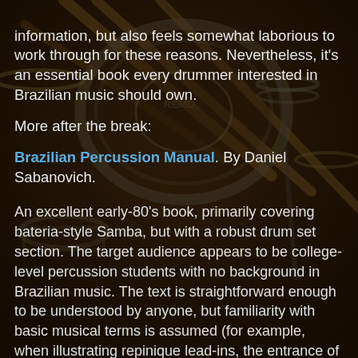information, but also feels somewhat laborious to work through for these reasons. Nevertheless, it's an essential book every drummer interested in Brazilian music should own.
More after the break:
Brazilian Percussion Manual. By Daniel Sabanovich.
An excellent early-80's book, primarily covering bateria-style Samba, but with a robust drum set section. The target audience appears to be college-level percussion students with no background in Brazilian music. The text is straightforward enough to be understood by anyone, but familiarity with basic musical terms is assumed (for example, when illustrating repinique lead-ins, the entrance of the full bateria is indicated by "tutti"). With two-to-several very good pages on each of the percussion instruments (I'm informed that the cuica section is "a joke", however!), and several complete sample bateria scores.